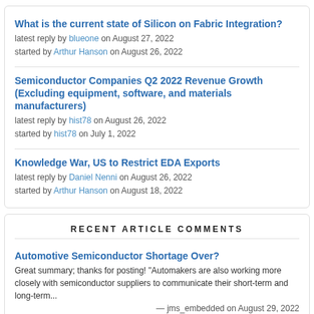What is the current state of Silicon on Fabric Integration?
latest reply by blueone on August 27, 2022
started by Arthur Hanson on August 26, 2022
Semiconductor Companies Q2 2022 Revenue Growth (Excluding equipment, software, and materials manufacturers)
latest reply by hist78 on August 26, 2022
started by hist78 on July 1, 2022
Knowledge War, US to Restrict EDA Exports
latest reply by Daniel Nenni on August 26, 2022
started by Arthur Hanson on August 18, 2022
RECENT ARTICLE COMMENTS
Automotive Semiconductor Shortage Over?
Great summary; thanks for posting! "Automakers are also working more closely with semiconductor suppliers to communicate their short-term and long-term...
— jms_embedded on August 29, 2022
2022 Semiconductor Supercycle and 2023 Crash Scenario
I suspect the TSMC Arizona fab project was answering to DoD's demand/encouragement. From its planned 20,000 wafers/month initial production